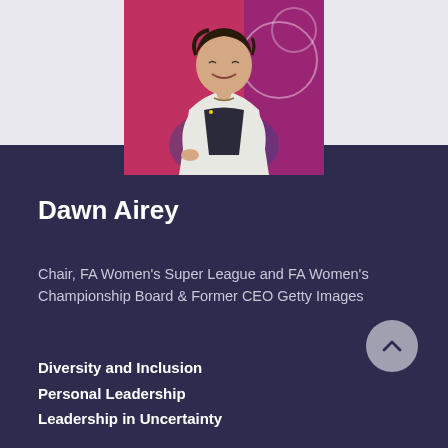[Figure (photo): Photo of Dawn Airey smiling, seated, wearing a white blazer and dark top, against a pink/red background with event branding]
Dawn Airey
Chair, FA Women's Super League and FA Women's Championship Board & Former CEO Getty Images
Diversity and Inclusion
Personal Leadership
Leadership in Uncertainty